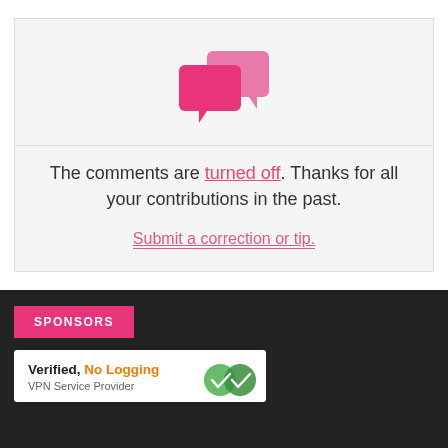[Figure (illustration): Two overlapping speech bubble icons in pink/magenta colors]
The comments are turned off. Thanks for all your contributions in the past.
Submit a correction or tip.
SPONSORS
Verified, No Logging
VPN Service Provider